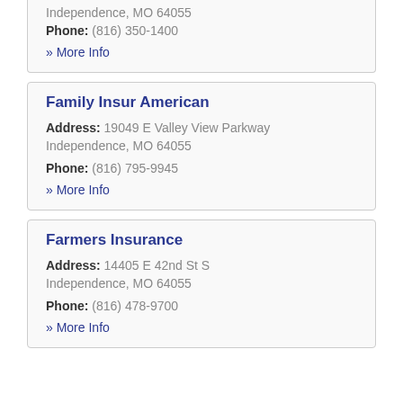Independence, MO 64055
Phone: (816) 350-1400
» More Info
Family Insur American
Address: 19049 E Valley View Parkway Independence, MO 64055
Phone: (816) 795-9945
» More Info
Farmers Insurance
Address: 14405 E 42nd St S Independence, MO 64055
Phone: (816) 478-9700
» More Info